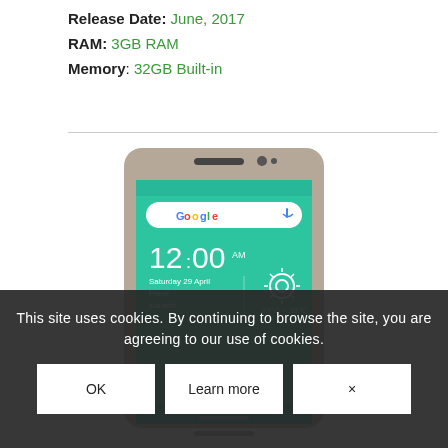Release Date: June, 2017
RAM: 3GB RAM
Memory: 32GB Built-in
[Figure (photo): Smartphone showing Android home screen with Google search bar, clock showing 12:00 AM, date Saturday 29 April, Place: Karachi, weather 27°C - 39°C, teal/green background]
This site uses cookies. By continuing to browse the site, you are agreeing to our use of cookies.
OK | Learn more | ×